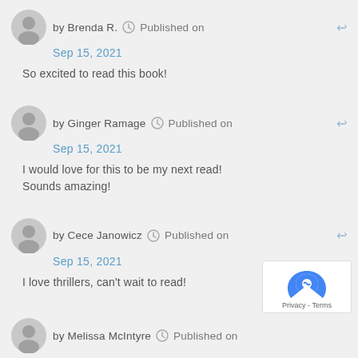by Brenda R.  Published on Sep 15, 2021
So excited to read this book!
by Ginger Ramage  Published on Sep 15, 2021
I would love for this to be my next read! Sounds amazing!
by Cece Janowicz  Published on Sep 15, 2021
I love thrillers, can't wait to read!
by Melissa McIntyre  Published on